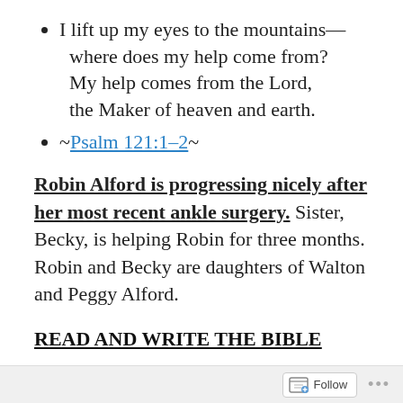I lift up my eyes to the mountains—where does my help come from? My help comes from the Lord, the Maker of heaven and earth.
~Psalm 121:1-2~
Robin Alford is progressing nicely after her most recent ankle surgery. Sister, Becky, is helping Robin for three months. Robin and Becky are daughters of Walton and Peggy Alford.
READ AND WRITE THE BIBLE
August 19 – John 8: 15-18
Follow ···